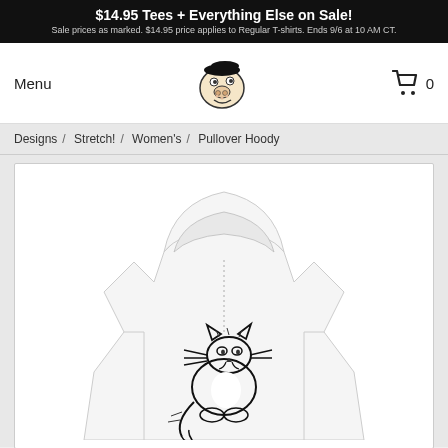$14.95 Tees + Everything Else on Sale! Sale prices as marked. $14.95 price applies to Regular T-shirts. Ends 9/6 at 10 AM CT.
Menu
[Figure (logo): Cartoon character logo with beret hat — a bumpy-faced man with big nose wearing a black beret]
0
Designs / Stretch! / Women's / Pullover Hoody
[Figure (photo): White women's pullover hoodie with a cartoon cat illustration printed on the front. The cat is drawn in black ink in a comic style, sitting and looking smug.]